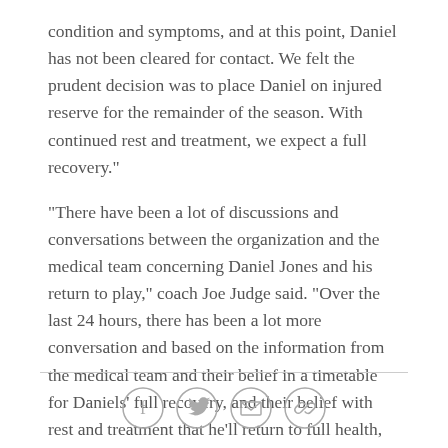condition and symptoms, and at this point, Daniel has not been cleared for contact. We felt the prudent decision was to place Daniel on injured reserve for the remainder of the season. With continued rest and treatment, we expect a full recovery."

"There have been a lot of discussions and conversations between the organization and the medical team concerning Daniel Jones and his return to play," coach Joe Judge said. "Over the last 24 hours, there has been a lot more conversation and based on the information from the medical team and their belief in a timetable for Daniels' full recovery, and their belief with rest and treatment that he'll return to full health, they deemed that the remainder of this season he should be shut down to give him that time to heal."
[Figure (other): Social sharing icons: Facebook, Twitter, Email, Link]